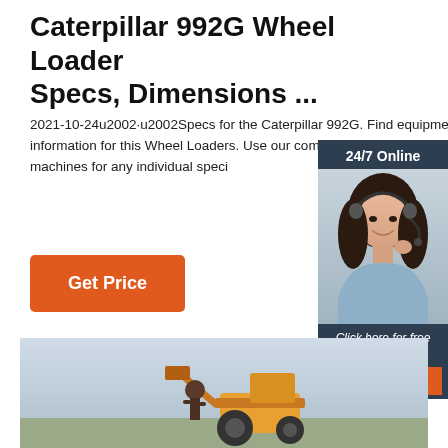Caterpillar 992G Wheel Loader Specs, Dimensions ...
2021-10-24u2002·u2002Specs for the Caterpillar 992G. Find equipment specs and information for this Wheel Loaders. Use our comparison tool to find comparable machines for any individual speci
Get Price
[Figure (photo): Customer service representative woman with headset smiling, shown in a 24/7 Online chat widget overlay with dark navy background, orange QUOTATION button, and italic 'Click here for free chat!' text.]
[Figure (photo): Outdoor photo of a person working on or near a tractor/wheel loader machine in an open field, light sky background.]